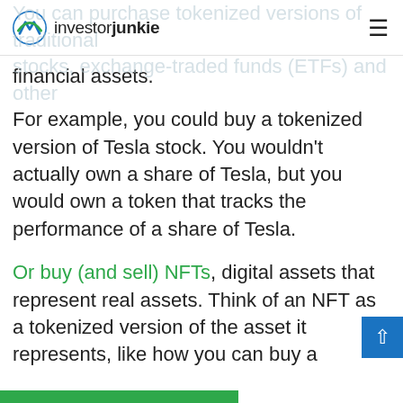investorjunkie
You can purchase tokenized versions of traditional stocks, exchange-traded funds (ETFs) and other financial assets.
For example, you could buy a tokenized version of Tesla stock. You wouldn't actually own a share of Tesla, but you would own a token that tracks the performance of a share of Tesla.
Or buy (and sell) NFTs, digital assets that represent real assets. Think of an NFT as a tokenized version of the asset it represents, like how you can buy a tokenized version of Tesla stock. There are NFTs art, music and more.